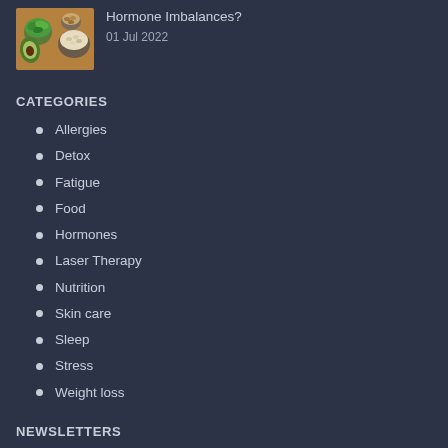[Figure (photo): Photo of healthy food including salad greens, avocado, grains in bowls on a wooden surface]
Hormone Imbalances?
01 Jul 2022
CATEGORIES
Allergies
Detox
Fatigue
Food
Hormones
Laser Therapy
Nutrition
Skin care
Sleep
Stress
Weight loss
NEWSLETTERS
SIGN UP FOR OUR NEWSLETTER TODAY. You'll receive: Advice on